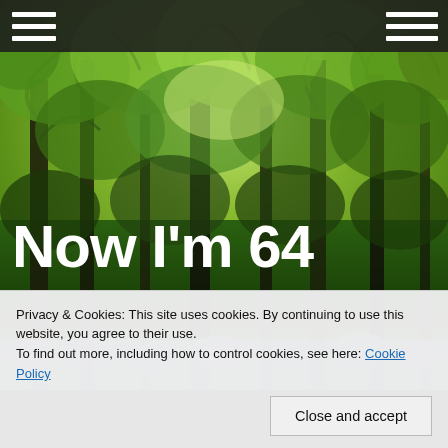[Figure (photo): Forest/woodland scene with green leafy trees forming a canopy, with bluebells visible at the bottom. A dark navigation header bar with hamburger menu icons overlays the top.]
Now I'm 64
Privacy & Cookies: This site uses cookies. By continuing to use this website, you agree to their use.
To find out more, including how to control cookies, see here: Cookie Policy
Close and accept